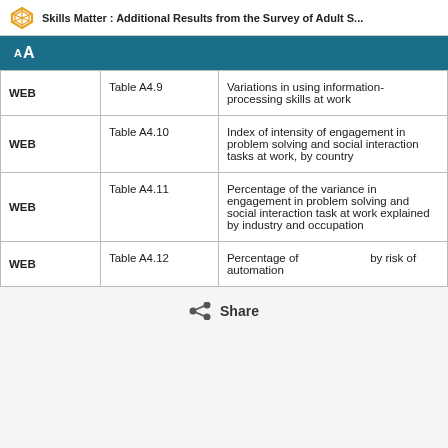Skills Matter : Additional Results from the Survey of Adult S...
|  | Table | Description |
| --- | --- | --- |
| WEB | Table A4.9 | Variations in using information-processing skills at work |
| WEB | Table A4.10 | Index of intensity of engagement in problem solving and social interaction tasks at work, by country |
| WEB | Table A4.11 | Percentage of the variance in engagement in problem solving and social interaction task at work explained by industry and occupation |
| WEB | Table A4.12 | Percentage of ... by risk of automation |
Share